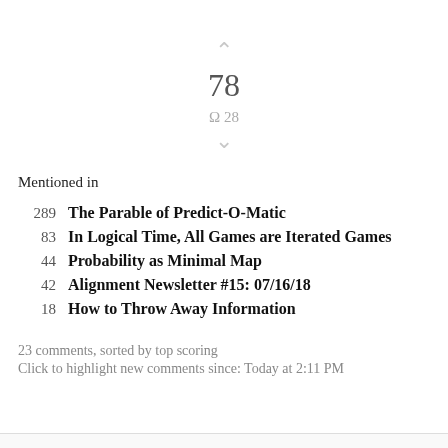[Figure (other): Vote widget showing upward chevron arrow, score 78, omega symbol with 28, and downward chevron arrow]
Mentioned in
289   The Parable of Predict-O-Matic
83   In Logical Time, All Games are Iterated Games
44   Probability as Minimal Map
42   Alignment Newsletter #15: 07/16/18
18   How to Throw Away Information
23 comments, sorted by top scoring
Click to highlight new comments since: Today at 2:11 PM